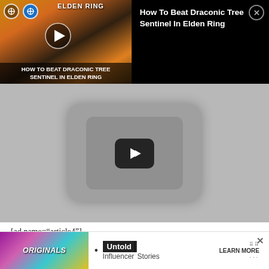[Figure (screenshot): Video overlay bar showing a video thumbnail of 'How To Beat Draconic Tree Sentinel In Elden Ring' on the left and video title on the right with a close (X) button]
[Figure (screenshot): Main video player area in gray showing a large play button in the center]
[ad name="article4"]
Here is every tier and their respective reward for the Season 8 Battle Pass:
Tiers 1–7
[Figure (screenshot): Bottom advertisement banner for 'Originals – Untold Influencer Stories' with a Learn More button and X close icon]